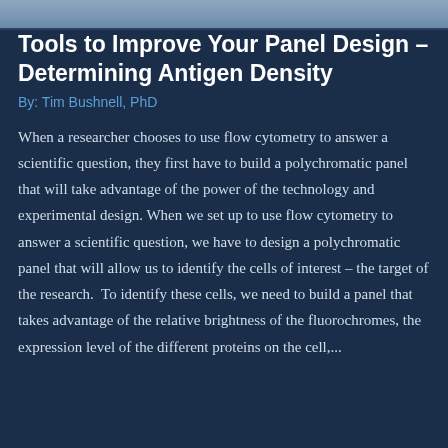[Figure (photo): Top image bar showing a partial photograph, appearing to be a scientific or laboratory related image cropped at the top of the page]
Tools to Improve Your Panel Design – Determining Antigen Density
By: Tim Bushnell, PhD
When a researcher chooses to use flow cytometry to answer a scientific question, they first have to build a polychromatic panel that will take advantage of the power of the technology and experimental design. When we set up to use flow cytometry to answer a scientific question, we have to design a polychromatic panel that will allow us to identify the cells of interest – the target of the research. To identify these cells, we need to build a panel that takes advantage of the relative brightness of the fluorochromes, the expression level of the different proteins on the cell,...